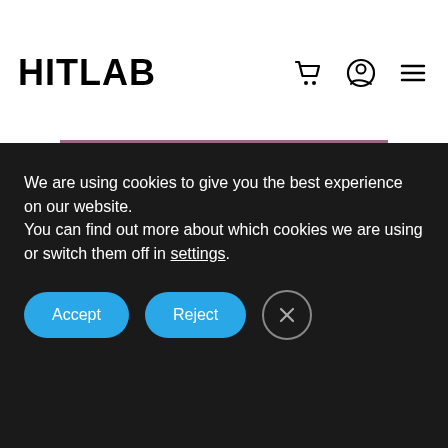HITLAB
Chair, Head of Realization at Genentech
We are using cookies to give you the best experience on our website.
You can find out more about which cookies we are using or switch them off in settings.
Accept
Reject